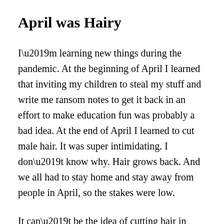April was Hairy
I’m learning new things during the pandemic. At the beginning of April I learned that inviting my children to steal my stuff and write me ransom notes to get it back in an effort to make education fun was probably a bad idea. At the end of April I learned to cut male hair. It was super intimidating. I don’t know why. Hair grows back. And we all had to stay home and stay away from people in April, so the stakes were low.
It can’t be the idea of cutting hair in general. I layered the front of my own hair in April, and tasked my ten year old daughter with trimming